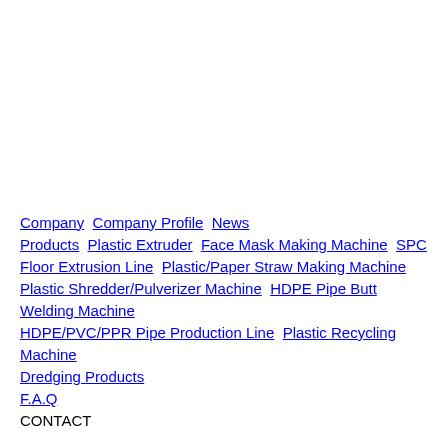Company  Company Profile  News  Products  Plastic Extruder  Face Mask Making Machine  SPC Floor Extrusion Line  Plastic/Paper Straw Making Machine  Plastic Shredder/Pulverizer Machine  HDPE Pipe Butt Welding Machine  HDPE/PVC/PPR Pipe Production Line  Plastic Recycling Machine  Dredging Products  F.A.Q  CONTACT